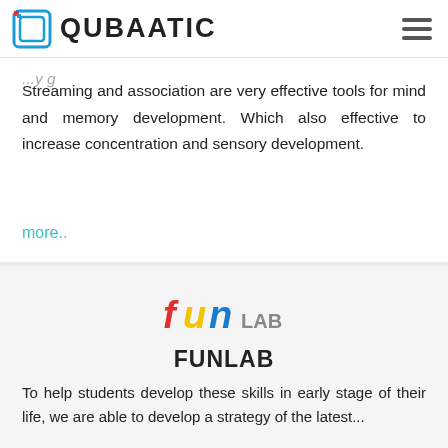QUBAATIC
Streaming and association are very effective tools for mind and memory development. Which also effective to increase concentration and sensory development.
more..
[Figure (logo): Fun Lab logo — stylized colorful text 'fun' in red, blue, yellow with 'LAB' in gray]
FUNLAB
To help students develop these skills in early stage of their life, we are able to develop a strategy of the latest...